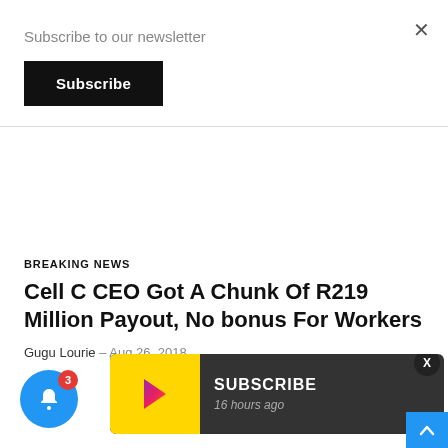Subscribe to our newsletter
Subscribe
BREAKING NEWS
Cell C CEO Got A Chunk Of R219 Million Payout, No bonus For Workers
Gugu Lourie – Aug 26, 2018
[Figure (screenshot): Blue notification bell icon with badge showing count 3]
[Figure (screenshot): Dark subscribe toast notification with yellow icon and text SUBSCRIBE, 16 hours ago]